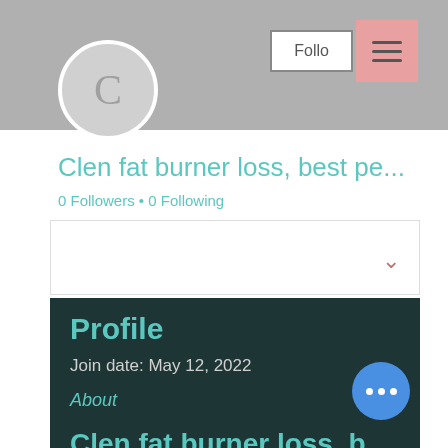[Figure (screenshot): User profile avatar circle with letter C on grey banner background]
Clen fat burner loss, best pe...
0 Followers • 0 Following
Profile
Join date: May 12, 2022
About
Clen fat burner loss, best peptide for muscle growth